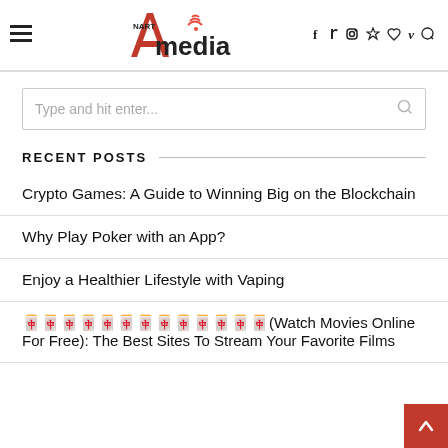Nart Amedia — navigation header with hamburger menu, logo, and social icons (f, twitter, instagram, pinterest, heart, vimeo, search)
[Figure (logo): Nart Amedia logo with stylized red A and wifi signal icon]
Type and hit enter...
RECENT POSTS
Crypto Games: A Guide to Winning Big on the Blockchain
Why Play Poker with an App?
Enjoy a Healthier Lifestyle with Vaping
🀄🀄🀄🀄🀄🀄🀄🀄🀄🀄🀄🀄🀄(Watch Movies Online For Free): The Best Sites To Stream Your Favorite Films